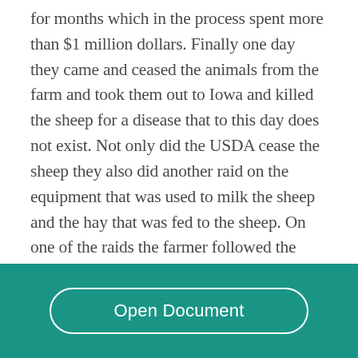for months which in the process spent more than $1 million dollars. Finally one day they came and ceased the animals from the farm and took them out to Iowa and killed the sheep for a disease that to this day does not exist. Not only did the USDA cease the sheep they also did another raid on the equipment that was used to milk the sheep and the hay that was fed to the sheep. On one of the raids the farmer followed the truck that had taken his
[Figure (other): Teal/green footer bar with a white rounded-rectangle button labeled 'Open Document']